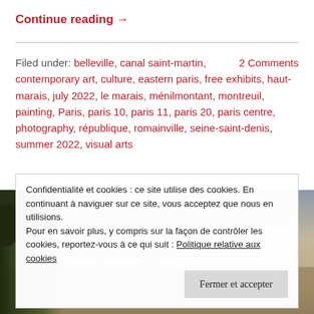Continue reading →
Filed under: belleville, canal saint-martin, contemporary art, culture, eastern paris, free exhibits, haut-marais, july 2022, le marais, ménilmontant, montreuil, painting, Paris, paris 10, paris 11, paris 20, paris centre, photography, république, romainville, seine-saint-denis, summer 2022, visual arts    2 Comments
[Figure (photo): Outdoor scene with trees and a pale sky, sepia-toned landscape photo]
Confidentialité et cookies : ce site utilise des cookies. En continuant à naviguer sur ce site, vous acceptez que nous en utilisions. Pour en savoir plus, y compris sur la façon de contrôler les cookies, reportez-vous à ce qui suit : Politique relative aux cookies   Fermer et accepter